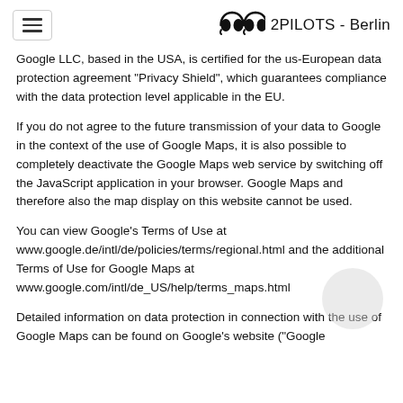2PILOTS - Berlin
Google LLC, based in the USA, is certified for the us-European data protection agreement "Privacy Shield", which guarantees compliance with the data protection level applicable in the EU.
If you do not agree to the future transmission of your data to Google in the context of the use of Google Maps, it is also possible to completely deactivate the Google Maps web service by switching off the JavaScript application in your browser. Google Maps and therefore also the map display on this website cannot be used.
You can view Google's Terms of Use at www.google.de/intl/de/policies/terms/regional.html and the additional Terms of Use for Google Maps at www.google.com/intl/de_US/help/terms_maps.html
Detailed information on data protection in connection with the use of Google Maps can be found on Google's website ("Google